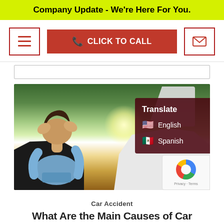Company Update - We're Here For You.
[Figure (screenshot): Navigation bar with hamburger menu icon, red CLICK TO CALL button with phone icon, and envelope icon button]
[Figure (photo): Person hunched over in distress in front of two cars with hoods open after a car accident, with a translate overlay showing English and Spanish options]
Car Accident
What Are the Main Causes of Car